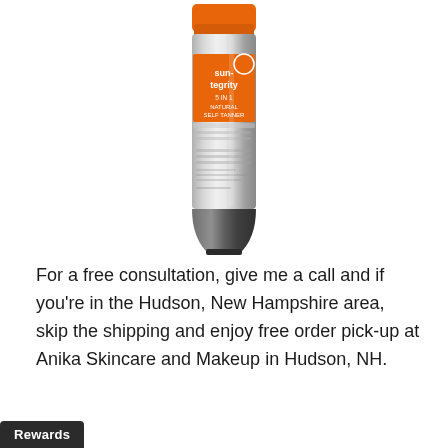[Figure (photo): A tube of Suntegrity 5-in-1 Natural Self Tanner with Vitamins product. The tube is silver/metallic with an orange cap and orange branding label showing the Suntegrity logo and product name.]
For a free consultation, give me a call and if you're in the Hudson, New Hampshire area, skip the shipping and enjoy free order pick-up at Anika Skincare and Makeup in Hudson, NH.
Rewards